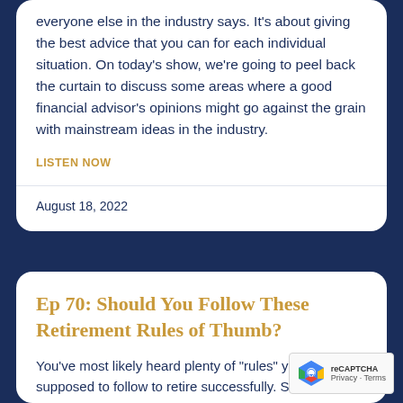everyone else in the industry says. It's about giving the best advice that you can for each individual situation. On today's show, we're going to peel back the curtain to discuss some areas where a good financial advisor's opinions might go against the grain with mainstream ideas in the industry.
LISTEN NOW
August 18, 2022
Ep 70: Should You Follow These Retirement Rules of Thumb?
You've most likely heard plenty of "rules" you're supposed to follow to retire successfully. Some of